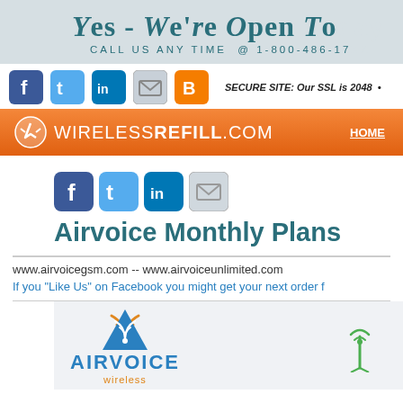Yes - We're Open To... Call us any time @ 1-800-486-17...
[Figure (screenshot): Social media icons: Facebook, Twitter, LinkedIn, Email, Blogger. Secure site text.]
[Figure (logo): WirelessRefill.com orange navigation bar with HOME link]
[Figure (screenshot): Social media icons: Facebook, Twitter, LinkedIn, Email (smaller)]
Airvoice Monthly Plans
www.airvoicegsm.com -- www.airvoiceunlimited.com
If you "Like Us" on Facebook you might get your next order f...
[Figure (logo): Airvoice Wireless logo with triangle/wifi icon and wifi tower icon]